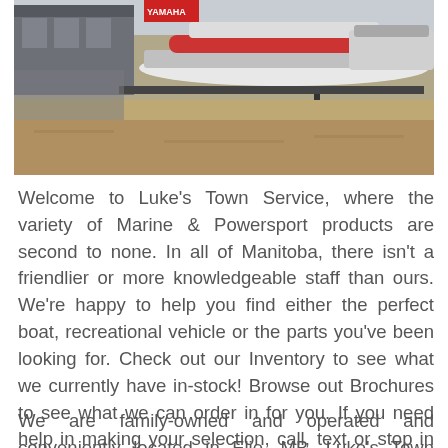[Figure (photo): Outdoor dealership lot showing multiple boats on trailers parked on a dirt/gravel lot, with a building and signage visible in the background. Yamaha branding visible on signage.]
Welcome to Luke's Town Service, where the variety of Marine & Powersport products are second to none. In all of Manitoba, there isn't a friendlier or more knowledgeable staff than ours. We're happy to help you find either the perfect boat, recreational vehicle or the parts you've been looking for. Check out our Inventory to see what we currently have in-stock! Browse out Brochures to see what we can order in for you. If you need help in making your selection, call, text or stop in—we're always ready to help!
We are family-owned and operated and conveniently located in Elie, MB. Luke's Town Service can provide you with the